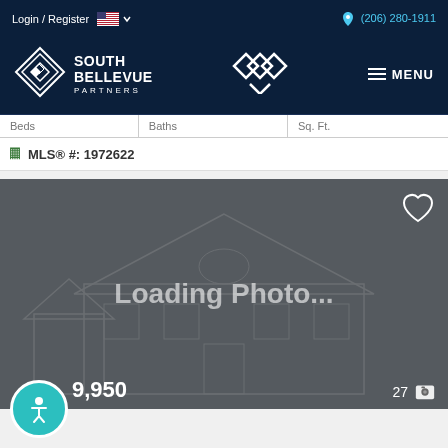Login / Register  (206) 280-1911
[Figure (screenshot): South Bellevue Partners website header with logo, center diamond logo, and MENU button on dark navy background]
| Beds | Baths | Sq. Ft. |
| --- | --- | --- |
MLS® #: 1972622
[Figure (photo): Loading Photo... placeholder with house wireframe illustration on dark gray background. Price partially visible: ,950. Photo count: 27.]